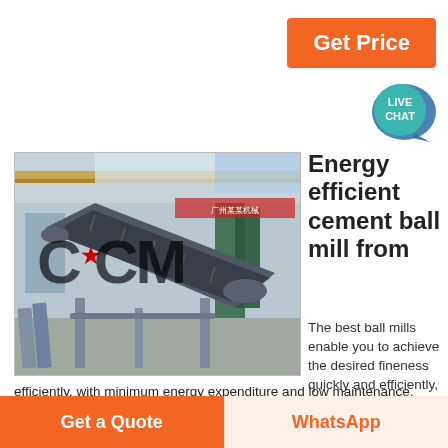Get Price
[Figure (illustration): Live Chat bubble icon in teal/dark blue]
[Figure (photo): Industrial factory interior showing a conveyor belt system with CCM watermark overlay]
Energy efficient cement ball mill from
The best ball mills enable you to achieve the desired fineness quickly and efficiently, with minimum energy expenditure and low maintenance.
efficiently, with minimum energy expenditure and low maintenance.
With more than 4000 references worldwide, the ball mill is
Get a Quote
WhatsApp